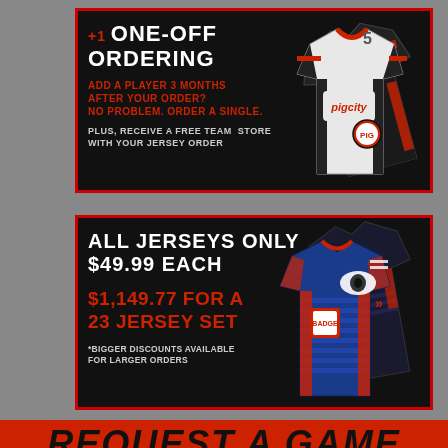[Figure (infographic): Black banner with red border showing +1 ONE-OFF ORDERING text, ADD A PLAYER 3 MONTHS AFTER YOUR ORDER? NO PROBLEM. ORDER A SINGLE. PLUS, RECEIVE A FREE TEAM STORE WITH YOUR JERSEY ORDER, alongside a white Pig City jersey illustration]
[Figure (infographic): Black banner with red border showing ALL JERSEYS ONLY $49.99 EACH and $1,149.77 FOR A 23 JERSEY SET with *BIGGER DISCOUNTS AVAILABLE FOR LARGER ORDERS, alongside blue/red jersey illustrations]
[Figure (infographic): Red banner at bottom with large black bold text starting REQUEST A GAME]